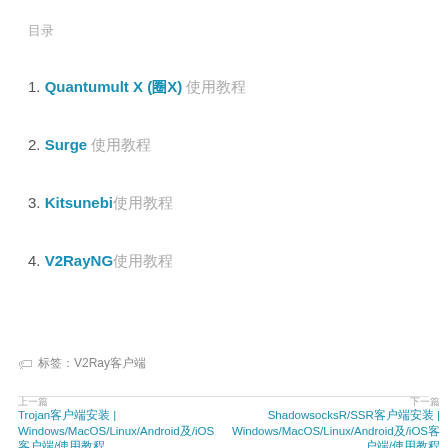目录
1. Quantumult X (圈X) 使用教程
2. Surge 使用教程
3. Kitsunebi使用教程
4. V2RayNG使用教程
标签：V2Ray客户端
上一篇  Trojan客户端安装 | Windows/MacOS/Linux/Android及/iOS客户端/使用教程  |  下一篇  ShadowsocksR/SSR客户端安装 | Windows/MacOS/Linux/Android及/iOS客户端/使用教程